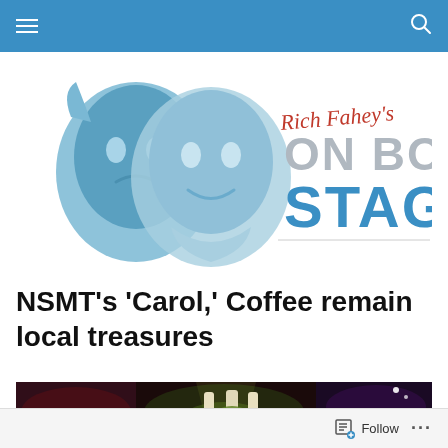Navigation bar with menu and search icons
[Figure (logo): Rich Fahey's On Boston Stages logo with theatrical comedy/tragedy masks in blue and grey text]
NSMT’s ‘Carol,’ Coffee remain local treasures
[Figure (photo): Dark theatrical stage photo showing performers in costume with green and purple lighting]
Follow ...